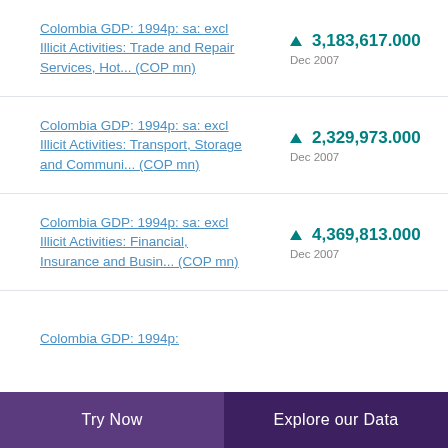Colombia GDP: 1994p: sa: excl Illicit Activities: Trade and Repair Services, Hot... (COP mn)
Colombia GDP: 1994p: sa: excl Illicit Activities: Transport, Storage and Communi... (COP mn)
Colombia GDP: 1994p: sa: excl Illicit Activities: Financial, Insurance and Busin... (COP mn)
Colombia GDP: 1994p:
Try Now | Explore our Data